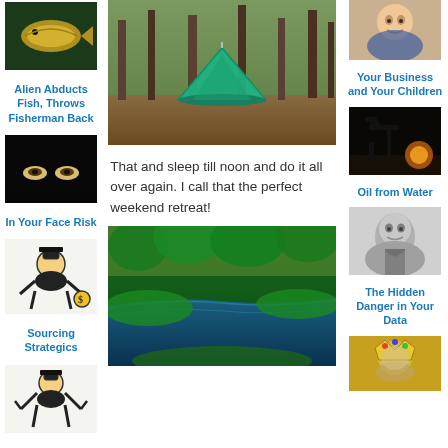[Figure (photo): Fish photo thumbnail]
Alien Abducts Fish, Throws Fisherman Back
[Figure (photo): Masked eyes in darkness thumbnail]
In Your Face Risk
[Figure (illustration): Monopoly man cartoon thumbnail]
Sourcing Strategics
[Figure (illustration): Monopoly man celebrating thumbnail]
[Figure (photo): Green tent in forest]
That and sleep till noon and do it all over again. I call that the perfect weekend retreat!
[Figure (photo): Green river through lush forest]
[Figure (photo): Baby smiling thumbnail]
Your Business and Your Children
[Figure (photo): Oil pump jack at sunset thumbnail]
Oil from Water
[Figure (photo): Black and white portrait of man thumbnail]
The Hidden Danger in Your Data
[Figure (photo): Golden crowned figure thumbnail]